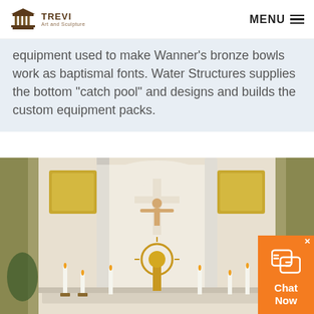TREVI Art and Sculpture | MENU
equipment used to make Wanner’s bronze bowls work as baptismal fonts. Water Structures supplies the bottom “catch pool” and designs and builds the custom equipment packs.
[Figure (photo): Interior of a Catholic church showing an altar with candles, a golden monstrance, and a crucifix on the wall between white columns with golden mosaic panels]